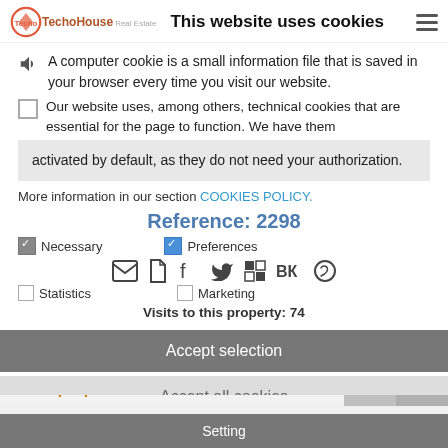This website uses cookies
A computer cookie is a small information file that is saved in your browser every time you visit our website.
Our website uses, among others, technical cookies that are essential for the page to function. We have them activated by default, as they do not need your authorization.
More information in our section COOKIES POLICY.
Reference: 2298
Necessary   Preferences   Statistics   Marketing
Visits to this property: 74
Accept selection
Accept all cookies
Other properties that could be of interest to you
Setting